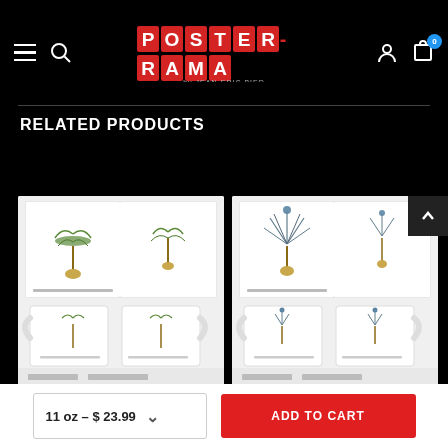Poster-Rama navigation header with hamburger menu, search, logo, user account, and cart icons
RELATED PRODUCTS
[Figure (photo): Product image of botanical plant illustrations on mugs - left product card showing green palm-like plant on white poster and two white ceramic mugs with botanical botanical prints]
[Figure (photo): Product image of botanical plant illustrations on mugs - right product card showing blue spiky plant on white poster and two white ceramic mugs with botanical prints]
11 oz – $ 23.99
ADD TO CART